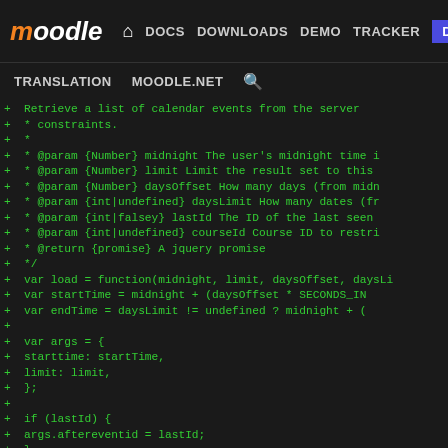moodle | DOCS DOWNLOADS DEMO TRACKER DEV | TRANSLATION MOODLE.NET
[Figure (screenshot): Moodle developer navigation bar with logo, navigation links (DOCS, DOWNLOADS, DEMO, TRACKER, DEV highlighted), and secondary nav (TRANSLATION, MOODLE.NET, search icon)]
Code diff view showing JavaScript code with green lines prefixed by + signs, showing a function with JSDoc comments and implementation including parameters for midnight, limit, daysOffset, daysLimit, lastId, courseId, and code with startTime, endTime, args object with starttime and limit, conditionals for lastId and endTime